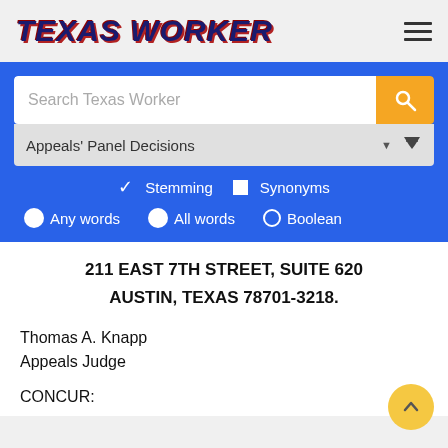TEXAS WORKER
[Figure (screenshot): Texas Worker website search interface with search bar, dropdown for Appeals Panel Decisions, Stemming/Synonyms checkboxes, and Any words/All words/Boolean radio buttons]
211 EAST 7TH STREET, SUITE 620
AUSTIN, TEXAS 78701-3218.
Thomas A. Knapp
Appeals Judge
CONCUR: